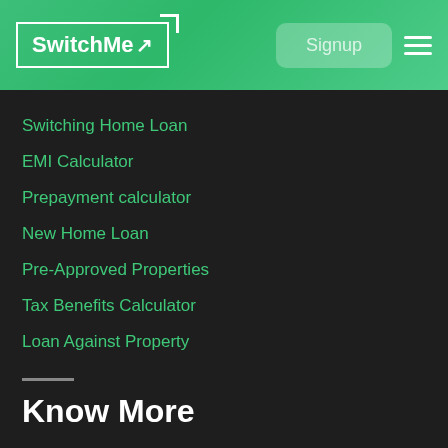SwitchMe | Signup
Switching Home Loan
EMI Calculator
Prepayment calculator
New Home Loan
Pre-Approved Properties
Tax Benefits Calculator
Loan Against Property
Know More
About Us